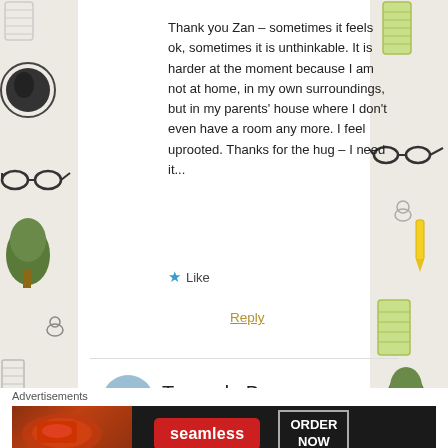[Figure (illustration): Decorative sidebar illustration on the left with kitchen/notebook themed doodles including graters, glasses, trees, etc.]
Thank you Zan – sometimes it feels ok, sometimes it is unthinkable. It is harder at the moment because I am not at home, in my own surroundings, but in my parents' house where I don't even have a room any more. I feel uprooted. Thanks for the hug – I need it...
★ Like
Reply
Truus de Brouwer
June 30, 2014 at 4:32 pm
[Figure (illustration): Decorative sidebar illustration on the right with kitchen/notebook themed doodles including graters, glasses, trees, etc.]
Advertisements
[Figure (screenshot): Seamless food ordering advertisement banner with pizza image, red Seamless logo button and ORDER NOW button on dark background]